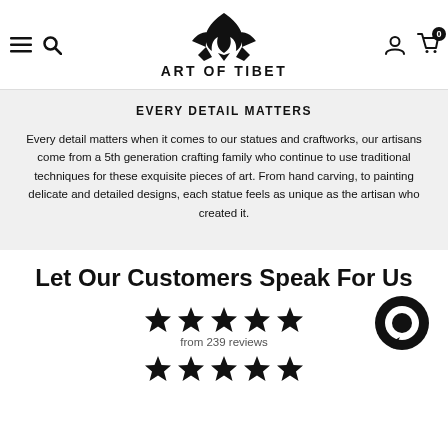ART OF TIBET
EVERY DETAIL MATTERS
Every detail matters when it comes to our statues and craftworks, our artisans come from a 5th generation crafting family who continue to use traditional techniques for these exquisite pieces of art. From hand carving, to painting delicate and detailed designs, each statue feels as unique as the artisan who created it.
Let Our Customers Speak For Us
from 239 reviews